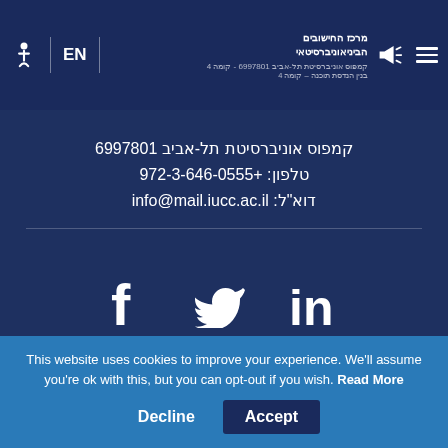Accessibility EN | מרכז החישובים הביניאוניברסיטאי | קמפוס אוניברסיטת תל-אביב 6997801 | טלפון: +972-3-646-0555 | דוא"ל: info@mail.iucc.ac.il
קמפוס אוניברסיטת תל-אביב 6997801
טלפון: +972-3-646-0555
דוא"ל: info@mail.iucc.ac.il
[Figure (infographic): Social media icons: Facebook (f), Twitter (bird), LinkedIn (in)]
This website uses cookies to improve your experience. We'll assume you're ok with this, but you can opt-out if you wish. Read More
Decline  Accept